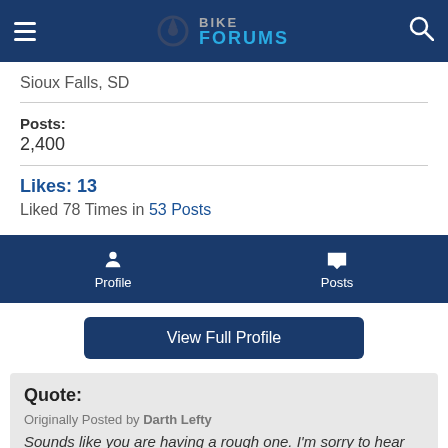Bike Forums
Sioux Falls, SD
Posts: 2,400
Likes: 13
Liked 78 Times in 53 Posts
Profile  Posts
View Full Profile
Quote:
Originally Posted by Darth Lefty
Sounds like you are having a rough one. I'm sorry to hear about your friend. Hope something improves.